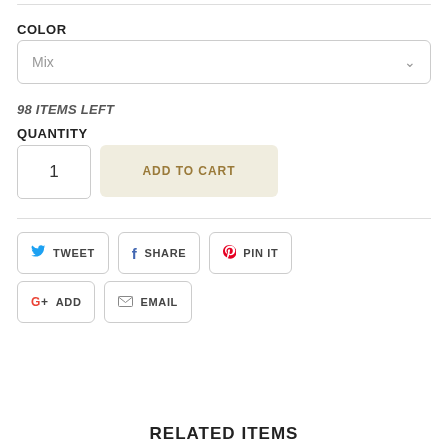COLOR
Mix
98 ITEMS LEFT
QUANTITY
1
ADD TO CART
TWEET
SHARE
PIN IT
G+ ADD
EMAIL
RELATED ITEMS